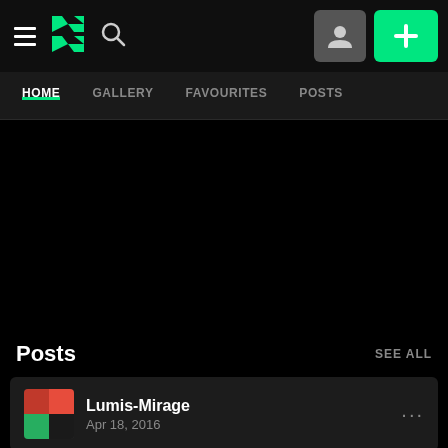DeviantArt navigation bar with hamburger menu, DA logo, search icon, profile button, and add button
HOME | GALLERY | FAVOURITES | POSTS
Posts
SEE ALL
Lumis-Mirage
Apr 18, 2016